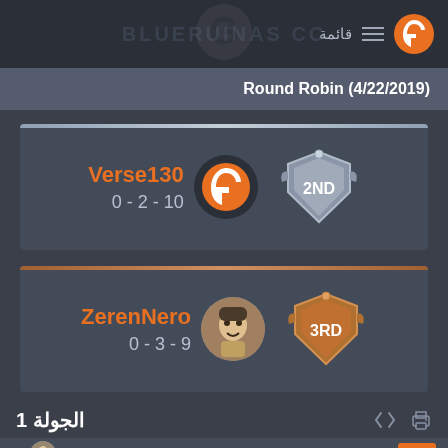قائمة  (menu icon)  (logo)
Round Robin (4/22/2019)
Verse130  0 - 2 - 10  2ND
ZerenNero  0 - 3 - 9  3RD
الجولة 1
2  shadowxlaw  2